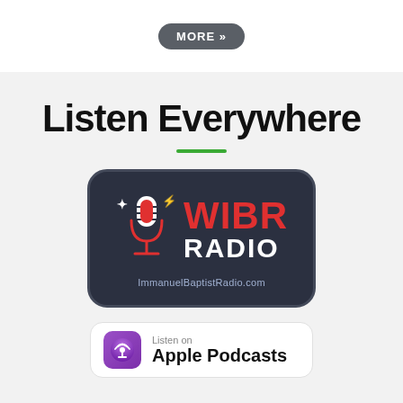MORE »
Listen Everywhere
[Figure (logo): WIBR Radio logo badge — dark navy rounded rectangle with red microphone icon, lightning bolts, 'WIBR' in red bold text, 'RADIO' in white bold text, and 'ImmanuelBaptistRadio.com' in light blue below]
[Figure (logo): Apple Podcasts badge — white rounded rectangle with purple podcast icon on left, 'Listen on' small text above 'Apple Podcasts' in bold black text]